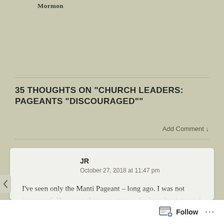Mormon
35 THOUGHTS ON “CHURCH LEADERS: PAGEANTS “DISCOURAGED””
Add Comment ↓
JR
October 27, 2018 at 11:47 pm

I’ve seen only the Manti Pageant – long ago. I was not impressed. However, there are many who have been moved by several of the pageants. Since I know nothing of the costs and burdens, I can’t comment appropriately on the big pageants.